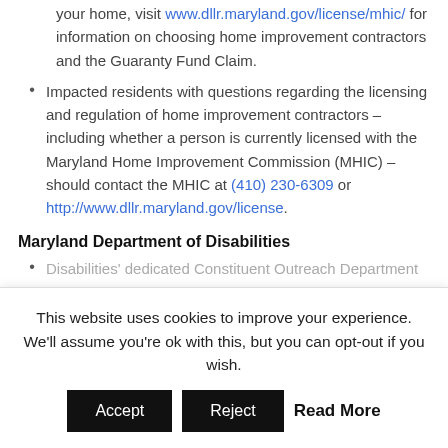your home, visit www.dllr.maryland.gov/license/mhic/ for information on choosing home improvement contractors and the Guaranty Fund Claim.
Impacted residents with questions regarding the licensing and regulation of home improvement contractors – including whether a person is currently licensed with the Maryland Home Improvement Commission (MHIC) – should contact the MHIC at (410) 230-6309 or http://www.dllr.maryland.gov/license.
Maryland Department of Disabilities
Disabilities' dedicated Constituent Outreach Department has increased monitoring of requests via phone, online and
This website uses cookies to improve your experience. We'll assume you're ok with this, but you can opt-out if you wish.
Accept | Reject | Read More